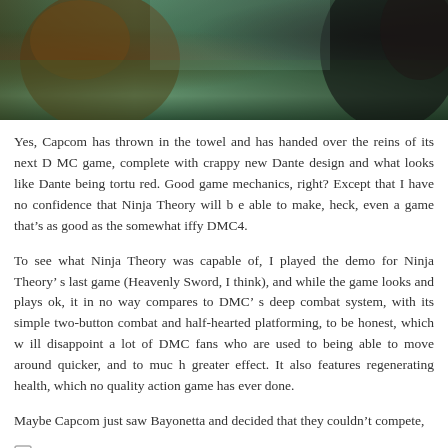[Figure (photo): Game screenshot showing dark fantasy characters, possibly from Devil May Cry, with brown/feathered figure on the left and dark figure on the right against a green outdoor background]
Yes, Capcom has thrown in the towel and has handed over the reins of its next DMC game, complete with crappy new Dante design and what looks like Dante being tortured. Good game mechanics, right? Except that I have no confidence that Ninja Theory will be able to make, heck, even a game thatâ€™s as good as the somewhat iffy DMC4.
To see what Ninja Theory was capable of, I played the demo for Ninja Theoryâ€™s last game (Heavenly Sword, I think), and while the game looks and plays ok, it in no way compares to DMCâ€™s deep combat system, with its simple two-button combat and half-hearted platforming, to be honest, which will disappoint a lot of DMC fans who are used to being able to move around quicker, and to much greater effect. It also features regenerating health, which no quality action game has ever done.
Maybe Capcom just saw Bayonetta and decided that they couldnâ€™t compete,
3 comments
Not sure why I did this
July 22nd, 2010 | Category: Music
Random recording I did using my iPhone